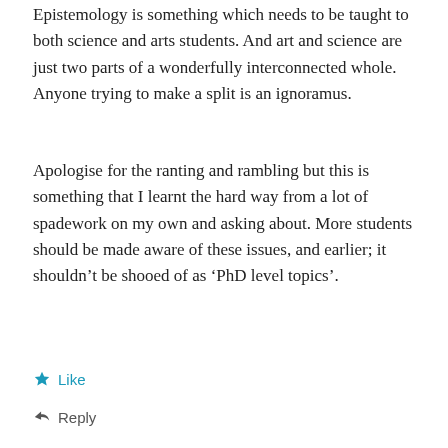Epistemology is something which needs to be taught to both science and arts students. And art and science are just two parts of a wonderfully interconnected whole. Anyone trying to make a split is an ignoramus.
Apologise for the ranting and rambling but this is something that I learnt the hard way from a lot of spadework on my own and asking about. More students should be made aware of these issues, and earlier; it shouldn't be shooed of as ‘PhD level topics’.
Like
Reply
DROSSBUCKET
August 13, 2017 / 2:02 pm
Sorry I've been slow replying to this. Agree with